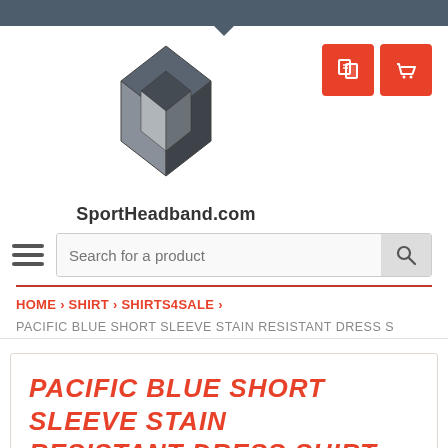[Figure (logo): SportHeadband.com geometric logo — interlocking angular shapes in dark grey/silver]
SportHeadband.com
Search for a product
HOME › SHIRT › SHIRTS4SALE ›
PACIFIC BLUE SHORT SLEEVE STAIN RESISTANT DRESS S
PACIFIC BLUE SHORT SLEEVE STAIN RESISTANT DRESS SHIRT FOR MEN
[Figure (photo): Partial view of a blue dress shirt collar/top]